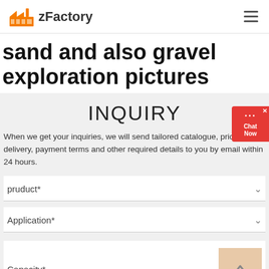zFactory
sand and also gravel exploration pictures
INQUIRY
When we get your inquiries, we will send tailored catalogue, pricelist, delivery, payment terms and other required details to you by email within 24 hours.
pruduct*
Application*
Capacity*